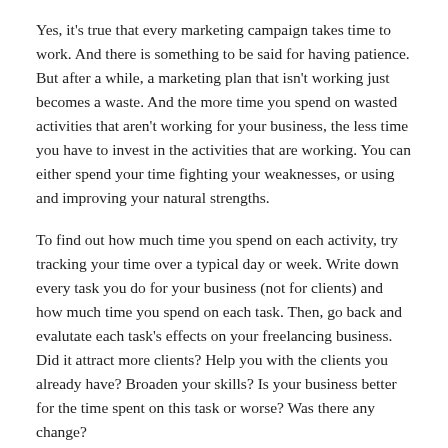Yes, it's true that every marketing campaign takes time to work. And there is something to be said for having patience. But after a while, a marketing plan that isn't working just becomes a waste. And the more time you spend on wasted activities that aren't working for your business, the less time you have to invest in the activities that are working. You can either spend your time fighting your weaknesses, or using and improving your natural strengths.
To find out how much time you spend on each activity, try tracking your time over a typical day or week. Write down every task you do for your business (not for clients) and how much time you spend on each task. Then, go back and evalutate each task's effects on your freelancing business. Did it attract more clients? Help you with the clients you already have? Broaden your skills? Is your business better for the time spent on this task or worse? Was there any change?
As you can imagine, evaluating these results may lead you to some surprising discoveries about how you're spending your